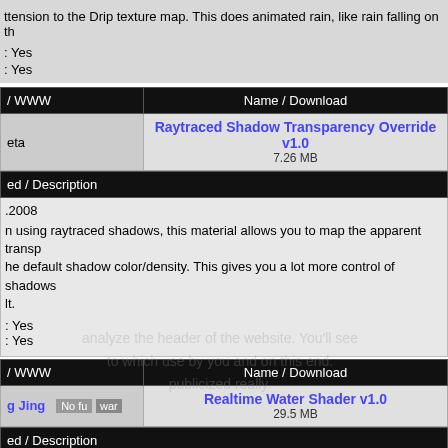ttension to the Drip texture map. This does animated rain, like rain falling on th
: Yes
: Yes
| / WWW | Name / Download |
| --- | --- |
| eta | Raytraced Shadow Transparency Override v1.0
7.26 MB |
ed / Description
.2008
n using raytraced shadows, this material allows you to map the apparent transp
he default shadow color/density. This gives you a lot more control of shadows
lt.
: Yes
: Yes
| / WWW | Name / Download |
| --- | --- |
| g Jing | Realtime Water Shader v1.0
29.5 MB |
ed / Description
.2009